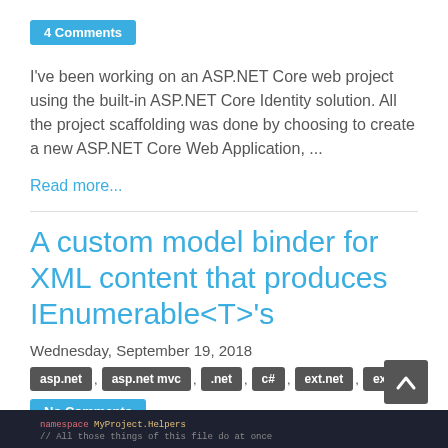4 Comments
I've been working on an ASP.NET Core web project using the built-in ASP.NET Core Identity solution. All the project scaffolding was done by choosing to create a new ASP.NET Core Web Application, ...
Read more...
A custom model binder for XML content that produces IEnumerable<T>'s
Wednesday, September 19, 2018
asp.net , asp.net mvc , .net , c# , ext.net , extjs
No Comments
[Figure (screenshot): Dark themed code editor screenshot showing code]